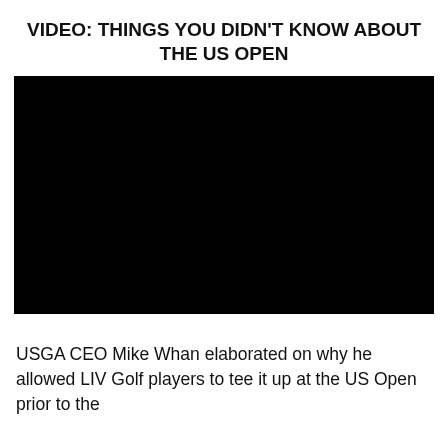VIDEO: THINGS YOU DIDN'T KNOW ABOUT THE US OPEN
[Figure (other): Black video player thumbnail placeholder]
USGA CEO Mike Whan elaborated on why he allowed LIV Golf players to tee it up at the US Open prior to the